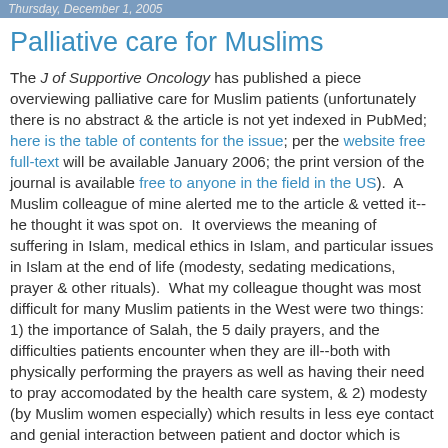Thursday, December 1, 2005
Palliative care for Muslims
The J of Supportive Oncology has published a piece overviewing palliative care for Muslim patients (unfortunately there is no abstract & the article is not yet indexed in PubMed; here is the table of contents for the issue; per the website free full-text will be available January 2006; the print version of the journal is available free to anyone in the field in the US).  A Muslim colleague of mine alerted me to the article & vetted it--he thought it was spot on.  It overviews the meaning of suffering in Islam, medical ethics in Islam, and particular issues in Islam at the end of life (modesty, sedating medications, prayer & other rituals).  What my colleague thought was most difficult for many Muslim patients in the West were two things: 1) the importance of Salah, the 5 daily prayers, and the difficulties patients encounter when they are ill--both with physically performing the prayers as well as having their need to pray accomodated by the health care system, & 2) modesty (by Muslim women especially) which results in less eye contact and genial interaction between patient and doctor which is often mistaken for lack of interest